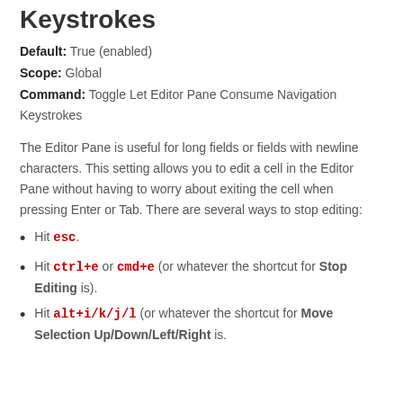Keystrokes
Default: True (enabled)
Scope: Global
Command: Toggle Let Editor Pane Consume Navigation Keystrokes
The Editor Pane is useful for long fields or fields with newline characters. This setting allows you to edit a cell in the Editor Pane without having to worry about exiting the cell when pressing Enter or Tab. There are several ways to stop editing:
Hit esc.
Hit ctrl+e or cmd+e (or whatever the shortcut for Stop Editing is).
Hit alt+i/k/j/l (or whatever the shortcut for Move Selection Up/Down/Left/Right is.